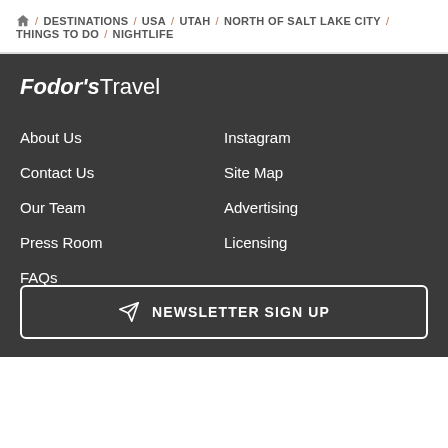🏠 / DESTINATIONS / USA / UTAH / NORTH OF SALT LAKE CITY / THINGS TO DO / NIGHTLIFE
[Figure (logo): Fodor's Travel logo in white on dark background]
About Us
Instagram
Contact Us
Site Map
Our Team
Advertising
Press Room
Licensing
FAQs
NEWSLETTER SIGN UP